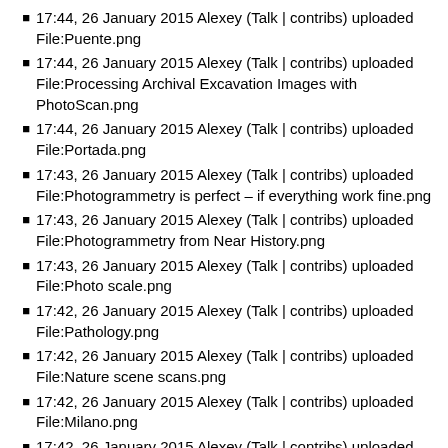17:44, 26 January 2015 Alexey (Talk | contribs) uploaded File:Puente.png
17:44, 26 January 2015 Alexey (Talk | contribs) uploaded File:Processing Archival Excavation Images with PhotoScan.png
17:44, 26 January 2015 Alexey (Talk | contribs) uploaded File:Portada.png
17:43, 26 January 2015 Alexey (Talk | contribs) uploaded File:Photogrammetry is perfect – if everything work fine.png
17:43, 26 January 2015 Alexey (Talk | contribs) uploaded File:Photogrammetry from Near History.png
17:43, 26 January 2015 Alexey (Talk | contribs) uploaded File:Photo scale.png
17:42, 26 January 2015 Alexey (Talk | contribs) uploaded File:Pathology.png
17:42, 26 January 2015 Alexey (Talk | contribs) uploaded File:Nature scene scans.png
17:42, 26 January 2015 Alexey (Talk | contribs) uploaded File:Milano.png
17:42, 26 January 2015 Alexey (Talk | contribs) uploaded File:Lens distortion.png
17:42, 26 January 2015 Alexey (Talk | contribs) uploaded File:Kostolík v Zolnej.png
17:41, 26 January 2015 Alexey (Talk | contribs) uploaded File:Kostolík sv. Michala Archanjela.png